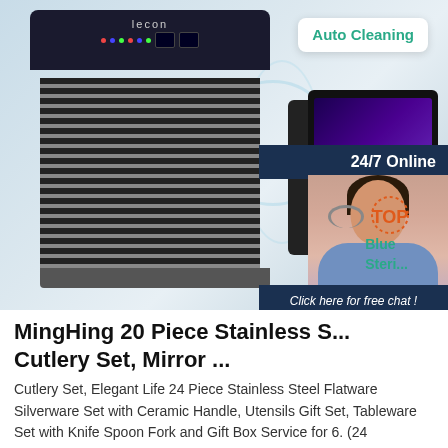[Figure (photo): Product listing page screenshot showing an ice maker machine (lecon brand) with water splash effect on left, a tablet/device on right with display showing '3', 'Auto Cleaning' badge top right, '24/7 Online' dark navy badge, a female customer service agent with headset smiling, 'Blue Steri...' text in teal, a dark navy chat box saying 'Click here for free chat!' with an orange QUOTATION button, and a TOP badge in red/orange.]
MingHing 20 Piece Stainless S... Cutlery Set, Mirror ...
Cutlery Set, Elegant Life 24 Piece Stainless Steel Flatware Silverware Set with Ceramic Handle, Utensils Gift Set, Tableware Set with Knife Spoon Fork and Gift Box Service for 6. (24